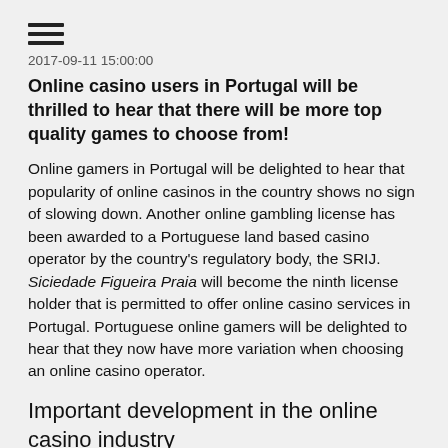☰
2017-09-11 15:00:00
Online casino users in Portugal will be thrilled to hear that there will be more top quality games to choose from!
Online gamers in Portugal will be delighted to hear that popularity of online casinos in the country shows no sign of slowing down. Another online gambling license has been awarded to a Portuguese land based casino operator by the country's regulatory body, the SRIJ. Siciedade Figueira Praia will become the ninth license holder that is permitted to offer online casino services in Portugal. Portuguese online gamers will be delighted to hear that they now have more variation when choosing an online casino operator.
Important development in the online casino industry